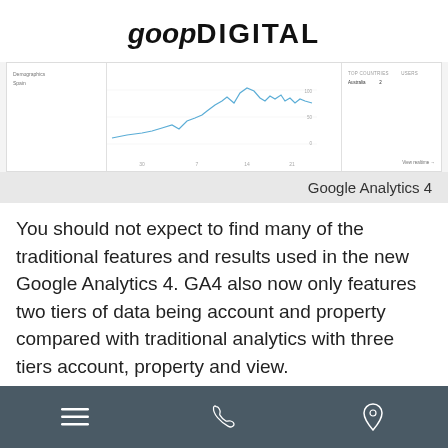[Figure (logo): goop DIGITAL logo in bold italic and uppercase sans-serif text]
[Figure (screenshot): Google Analytics 4 dashboard screenshot showing a line chart with demographic/Spain segments and a top countries panel on the right]
Google Analytics 4
You should not expect to find many of the traditional features and results used in the new Google Analytics 4. GA4 also now only features two tiers of data being account and property compared with traditional analytics with three tiers account, property and view.
[Figure (other): Mobile navigation footer bar with menu (hamburger), phone, and location pin icons on dark grey background]